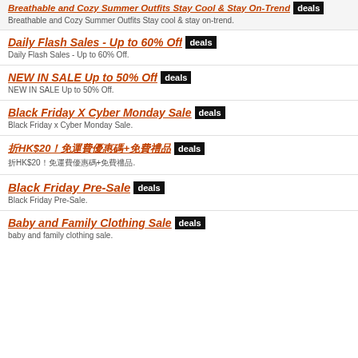Breathable and Cozy Summer Outfits Stay Cool & Stay On-Trend deals
Breathable and Cozy Summer Outfits Stay cool & stay on-trend.
Daily Flash Sales - Up to 60% Off deals
Daily Flash Sales - Up to 60% Off.
NEW IN SALE Up to 50% Off deals
NEW IN SALE Up to 50% Off.
Black Friday X Cyber Monday Sale deals
Black Friday x Cyber Monday Sale.
折HK$20！免運費優惠碼+免費禮品 deals
折HK$20！免運費優惠碼+免費禮品.
Black Friday Pre-Sale deals
Black Friday Pre-Sale.
Baby and Family Clothing Sale deals
baby and family clothing sale.